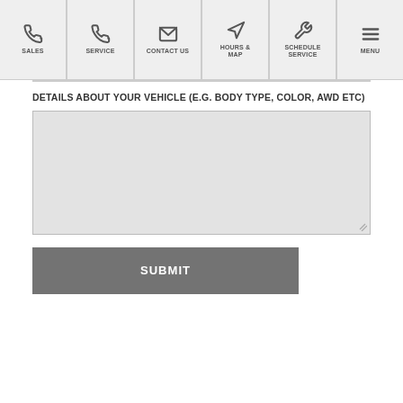SALES | SERVICE | CONTACT US | HOURS & MAP | SCHEDULE SERVICE | MENU
DETAILS ABOUT YOUR VEHICLE (E.G. BODY TYPE, COLOR, AWD ETC)
[Figure (other): Large text area input field for vehicle details, with resize handle at bottom right]
SUBMIT